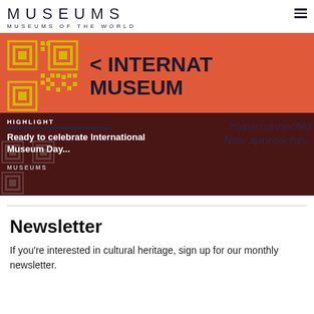MUSEUMS
MUSEUMS OF THE WORLD
[Figure (screenshot): International Museum Day promotional banner with QR code on orange background (top) and dark burgundy background (bottom) showing text: HIGHLIGHT, Ready to celebrate International Museum Day..., Hyperconnected, New approaches, MUSEUMS]
Newsletter
If you're interested in cultural heritage, sign up for our monthly newsletter.